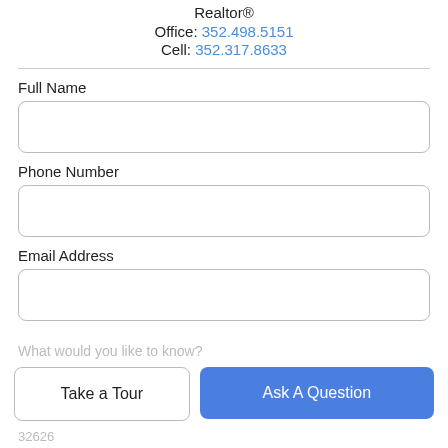Realtor®
Office: 352.498.5151
Cell: 352.317.8633
Full Name
Phone Number
Email Address
What would you like to know?
Take a Tour
Ask A Question
32626